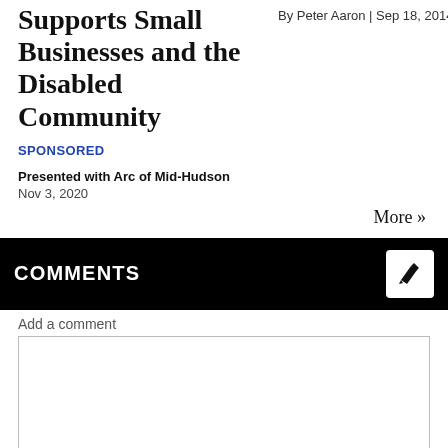Supports Small Businesses and the Disabled Community
By Peter Aaron | Sep 18, 2014
SPONSORED
Presented with Arc of Mid-Hudson
Nov 3, 2020
More »
COMMENTS
Add a comment